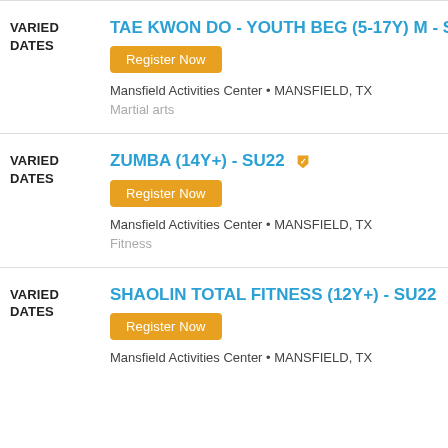VARIED DATES | TAE KWON DO - YOUTH BEG (5-17Y) M - SU... | Register Now | Mansfield Activities Center • MANSFIELD, TX | Martial arts
VARIED DATES | ZUMBA (14Y+) - SU22 | Register Now | Mansfield Activities Center • MANSFIELD, TX | Fitness
VARIED DATES | SHAOLIN TOTAL FITNESS (12Y+) - SU22 | Register Now | Mansfield Activities Center • MANSFIELD, TX